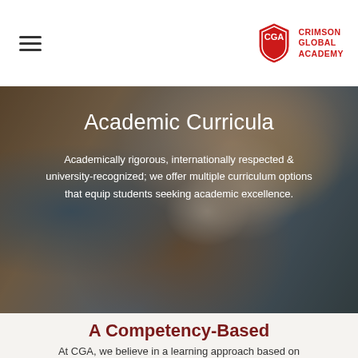CGA — CRIMSON GLOBAL ACADEMY
[Figure (photo): Person holding open book, hands visible, warm tones, blurred background. Hero banner image for Academic Curricula page.]
Academic Curricula
Academically rigorous, internationally respected & university-recognized; we offer multiple curriculum options that equip students seeking academic excellence.
A Competency-Based Approach to Learning
At CGA, we believe in a learning approach based on